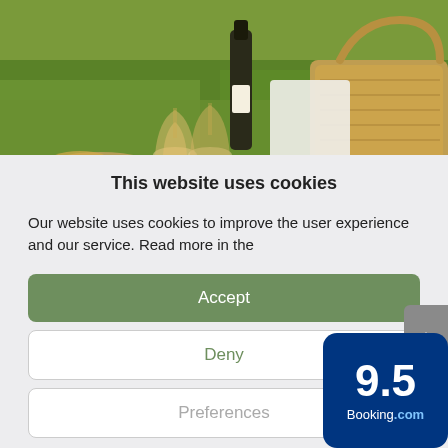[Figure (photo): Outdoor picnic scene on green grass with a wine bottle, two glasses of white wine, a woven basket bag, and food items]
This website uses cookies
Our website uses cookies to improve the user experience and our service. Read more in the
Accept
Deny
Preferences
[Figure (logo): Booking.com rating badge showing 9.5 score on dark blue background]